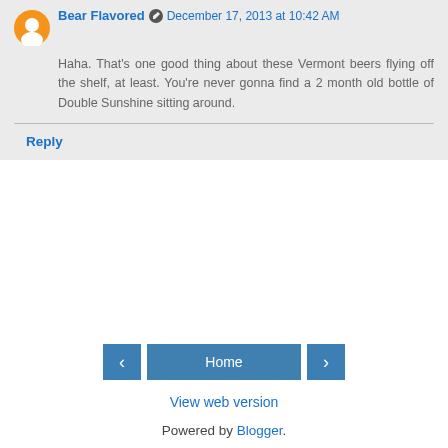Bear Flavored · December 17, 2013 at 10:42 AM
Haha. That's one good thing about these Vermont beers flying off the shelf, at least. You're never gonna find a 2 month old bottle of Double Sunshine sitting around.
Reply
Home
View web version
Powered by Blogger.